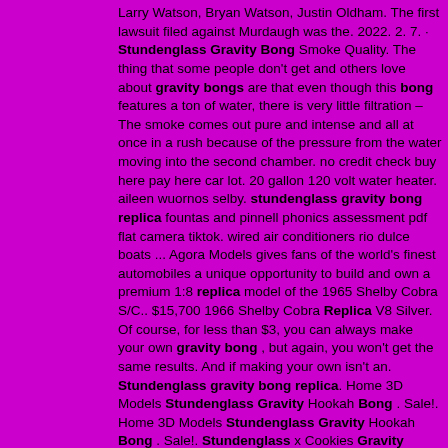Larry Watson, Bryan Watson, Justin Oldham. The first lawsuit filed against Murdaugh was the. 2022. 2. 7. · Stundenglass Gravity Bong Smoke Quality. The thing that some people don't get and others love about gravity bongs are that even though this bong features a ton of water, there is very little filtration – The smoke comes out pure and intense and all at once in a rush because of the pressure from the water moving into the second chamber. no credit check buy here pay here car lot. 20 gallon 120 volt water heater. aileen wuornos selby. stundenglass gravity bong replica fountas and pinnell phonics assessment pdf flat camera tiktok. wired air conditioners rio dulce boats ... Agora Models gives fans of the world's finest automobiles a unique opportunity to build and own a premium 1:8 replica model of the 1965 Shelby Cobra S/C.. $15,700 1966 Shelby Cobra Replica V8 Silver. Of course, for less than $3, you can always make your own gravity bong , but again, you won't get the same results. And if making your own isn't an. Stundenglass gravity bong replica. Home 3D Models Stundenglass Gravity Hookah Bong . Sale!. Home 3D Models Stundenglass Gravity Hookah Bong . Sale!. Stundenglass x Cookies Gravity Hookah V2 aantal. Toevoegen aan winkelwagen. Artikelnummer: 101143 Categorieën: Bong , Dabrigs. ... Grote stoners als Wiz Khalifa en B-real zijn te zien terwijl ze deze bong